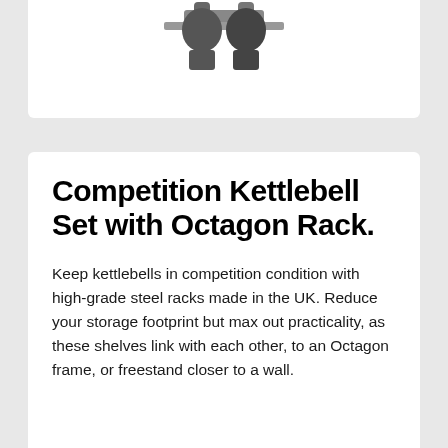[Figure (photo): Partial product image of a kettlebell set with octagon rack, showing the top portion of the product against a white background]
Competition Kettlebell Set with Octagon Rack.
Keep kettlebells in competition condition with high-grade steel racks made in the UK. Reduce your storage footprint but max out practicality, as these shelves link with each other, to an Octagon frame, or freestand closer to a wall.